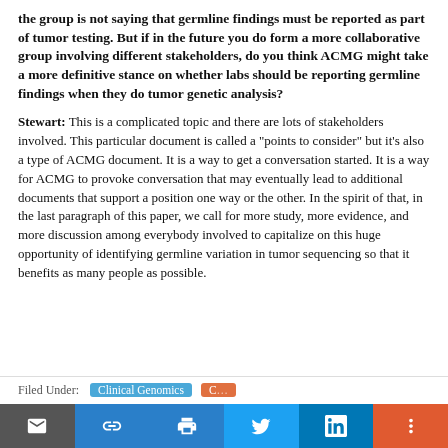the group is not saying that germline findings must be reported as part of tumor testing. But if in the future you do form a more collaborative group involving different stakeholders, do you think ACMG might take a more definitive stance on whether labs should be reporting germline findings when they do tumor genetic analysis?
Stewart: This is a complicated topic and there are lots of stakeholders involved. This particular document is called a "points to consider" but it's also a type of ACMG document. It is a way to get a conversation started. It is a way for ACMG to provoke conversation that may eventually lead to additional documents that support a position one way or the other. In the spirit of that, in the last paragraph of this paper, we call for more study, more evidence, and more discussion among everybody involved to capitalize on this huge opportunity of identifying germline variation in tumor sequencing so that it benefits as many people as possible.
Filed Under: Clinical Genomics | Cancer Genomics